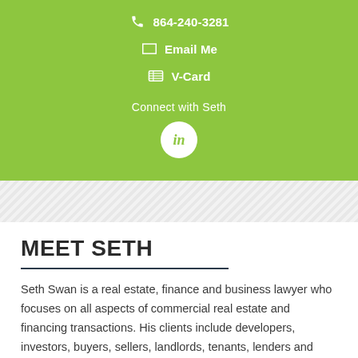864-240-3281
Email Me
V-Card
Connect with Seth
[Figure (logo): LinkedIn 'in' logo inside a white circle on green background]
MEET SETH
Seth Swan is a real estate, finance and business lawyer who focuses on all aspects of commercial real estate and financing transactions. His clients include developers, investors, buyers, sellers, landlords, tenants, lenders and borrowers.